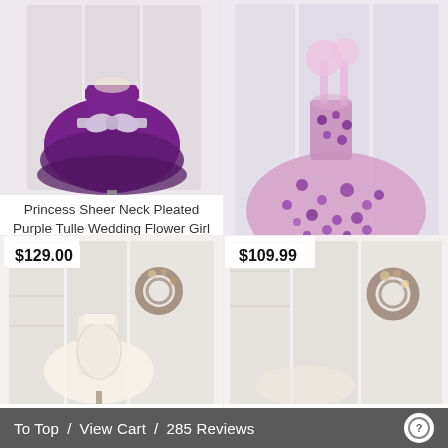[Figure (photo): Purple tulle flower girl dress with bow on a mannequin stand, displayed against white shutter background]
Princess Sheer Neck Pleated Purple Tulle Wedding Flower Girl Dress Kids Party Dress with Bow
[Figure (photo): 3D purple lace floral tulle wedding flower girl dress on a mannequin stand, displayed against white shutter background]
3D Purple Lace Flower Tulle Wedding Flower Girl Dress Kids Party Dress Photography Dress
[Figure (photo): White lace flower girl dress on a short mannequin, displayed against rustic white shutter background with floral wreath]
$129.00
[Figure (photo): Flower girl dress partially visible, displayed against rustic white shutter background with floral wreath]
$109.99
To Top  /  View Cart  /  285 Reviews